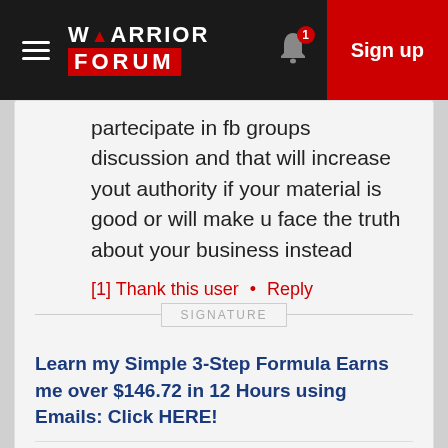Warrior Forum — Sign up
partecipate in fb groups discussion and that will increase yout authority if your material is good or will make u face the truth about your business instead
[1] Thank this user • Reply
SIGNATURE
Learn my Simple 3-Step Formula Earns me over $146.72 in 12 Hours using Emails: Click HERE!
DigitalMarketingChris · 5 years ago
this is what you can fix from...